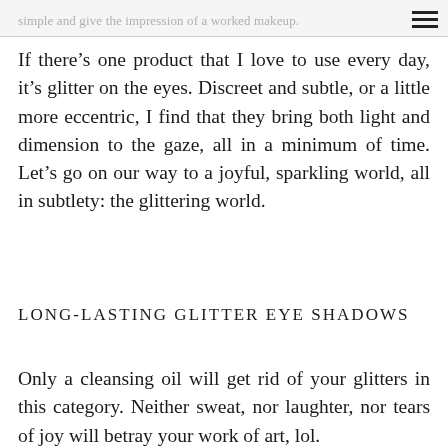simple and give the impression of a worked makeup.
If there’s one product that I love to use every day, it’s glitter on the eyes. Discreet and subtle, or a little more eccentric, I find that they bring both light and dimension to the gaze, all in a minimum of time. Let’s go on our way to a joyful, sparkling world, all in subtlety: the glittering world.
LONG-LASTING GLITTER EYE SHADOWS
Only a cleansing oil will get rid of your glitters in this category. Neither sweat, nor laughter, nor tears of joy will betray your work of art, lol.